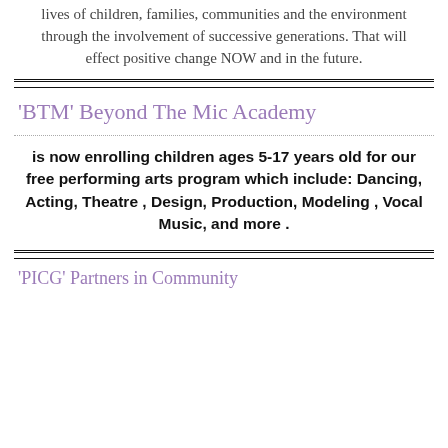lives of children, families, communities and the environment through the involvement of successive generations. That will effect positive change NOW and in the future.
'BTM' Beyond The Mic Academy
is now enrolling children ages 5-17 years old for our free performing arts program which include: Dancing, Acting, Theatre , Design, Production, Modeling , Vocal Music, and more .
'PICG' Partners in Community